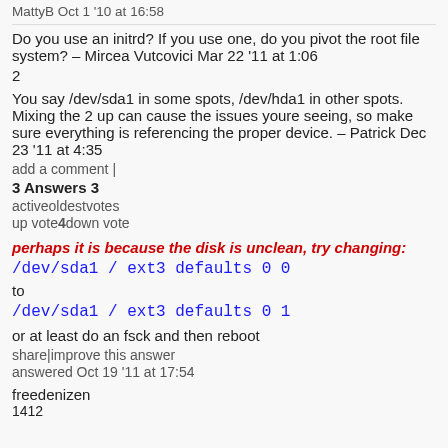MattyB Oct 1 '10 at 16:58
Do you use an initrd? If you use one, do you pivot the root file system? – Mircea Vutcovici Mar 22 '11 at 1:06
2
You say /dev/sda1 in some spots, /dev/hda1 in other spots. Mixing the 2 up can cause the issues youre seeing, so make sure everything is referencing the proper device. – Patrick Dec 23 '11 at 4:35
add a comment |
3 Answers 3
activeoldestvotes
up vote4down vote
perhaps it is because the disk is unclean, try changing:
/dev/sda1 / ext3 defaults 0 0
to
/dev/sda1 / ext3 defaults 0 1
or at least do an fsck and then reboot
share|improve this answer
answered Oct 19 '11 at 17:54
freedenizen
1412